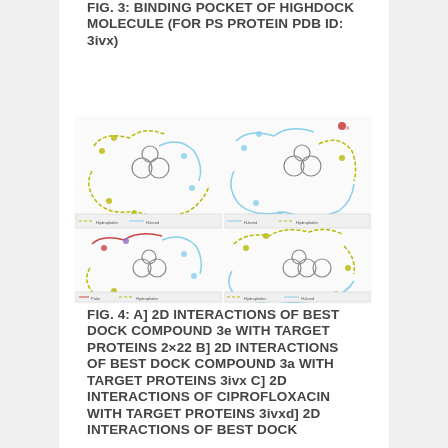FIG. 3: BINDING POCKET OF HIGHDOCK MOLECULE (FOR PS PROTEIN PDB ID: 3ivx)
[Figure (illustration): Four-panel 2D molecular interaction diagram showing binding pocket of HIGHDOCK molecule for PS protein PDB ID 3ivx. Each panel shows a different compound/condition with yellow, blue and green interaction lines around a central chemical structure.]
FIG. 4: A] 2D INTERACTIONS OF BEST DOCK COMPOUND 3e WITH TARGET PROTEINS 2×22 B] 2D INTERACTIONS OF BEST DOCK COMPOUND 3a WITH TARGET PROTEINS 3ivx C] 2D INTERACTIONS OF CIPROFLOXACIN WITH TARGET PROTEINS 3ivxd] 2D INTERACTIONS OF BEST DOCK